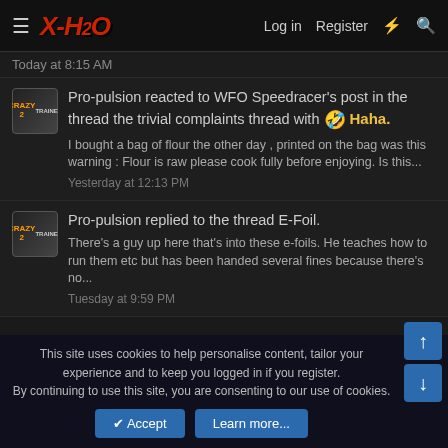X-H2O | Log in | Register
Today at 8:15 AM
Pro-pulsion reacted to WFO Speedracer's post in the thread the trivial complaints thread with 🤣 Haha.
I bought a bag of flour the other day , printed on the bag was this warning : Flour is raw please cook fully before enjoying. Is this...
Yesterday at 12:13 PM
Pro-pulsion replied to the thread E-Foil.
There's a guy up here that's into these e-foils. He teaches how to run them etc but has been handed several fines because there's no...
Tuesday at 9:59 PM
This site uses cookies to help personalise content, tailor your experience and to keep you logged in if you register.
By continuing to use this site, you are consenting to our use of cookies.